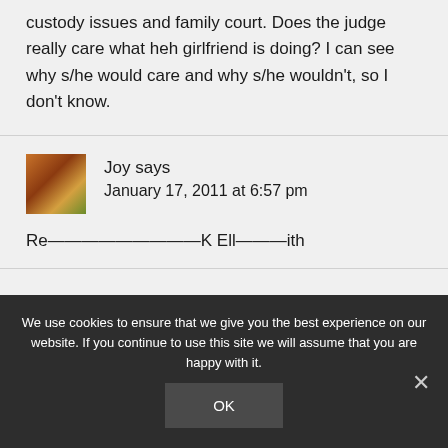custody issues and family court. Does the judge really care what heh girlfriend is doing? I can see why s/he would care and why s/he wouldn't, so I don't know.
Joy says
January 17, 2011 at 6:57 pm
We use cookies to ensure that we give you the best experience on our website. If you continue to use this site we will assume that you are happy with it.
OK